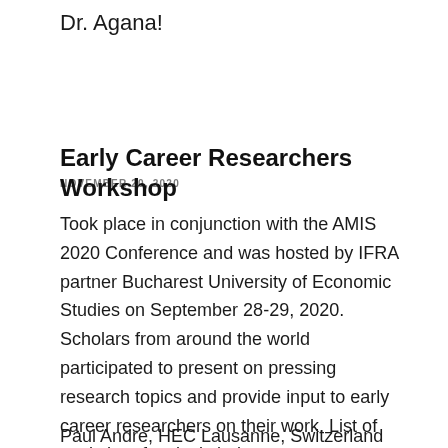Dr. Agana!
NOVEMBER 20, 2020
Early Career Researchers Workshop
Took place in conjunction with the AMIS 2020 Conference and was hosted by IFRA partner Bucharest University of Economic Studies on September 28-29, 2020. Scholars from around the world participated to present on pressing research topics and provide input to early career researchers on their work. List of workshop faculty is below.
Paul Andre, HEC Lausanne, Switzerland